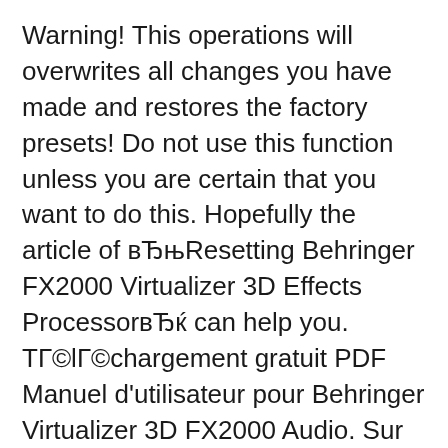Warning! This operations will overwrites all changes you have made and restores the factory presets! Do not use this function unless you are certain that you want to do this. Hopefully the article of вЂњResetting Behringer FX2000 Virtualizer 3D Effects ProcessorвЂќ can help you. ТГ©lГ©chargement gratuit PDF Manuel d'utilisateur pour Behringer Virtualizer 3D FX2000 Audio. Sur cette page vous pouvez tГ©lГ©charger gratuitement Manuel d'utilisateur Behringer Virtualizer 3D FX2000. PDF Manuel d'utilisateur a 28 pages et sa taille est de 2.31 Mb. Lire en-ligne Audio Behringer Virtualizer 3D FX2000 Manuel d'utilisateur.